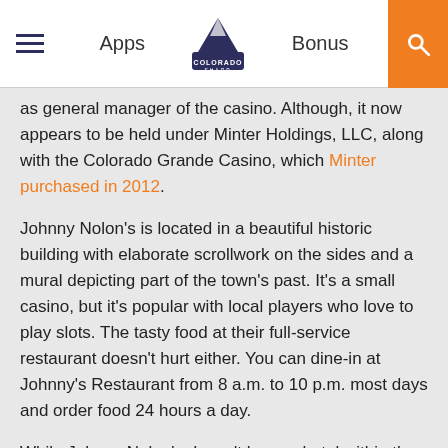Apps | Colorado Sharp | Bonus
as general manager of the casino. Although, it now appears to be held under Minter Holdings, LLC, along with the Colorado Grande Casino, which Minter purchased in 2012.
Johnny Nolon's is located in a beautiful historic building with elaborate scrollwork on the sides and a mural depicting part of the town's past. It's a small casino, but it's popular with local players who love to play slots. The tasty food at their full-service restaurant doesn't hurt either. You can dine-in at Johnny's Restaurant from 8 a.m. to 10 p.m. most days and order food 24 hours a day.
While Johnny Nolon's doesn't have a hotel within the walls of the casino, they have booking available for the Lucky 7 Hotel at the nearby Colorado Grande Casino.